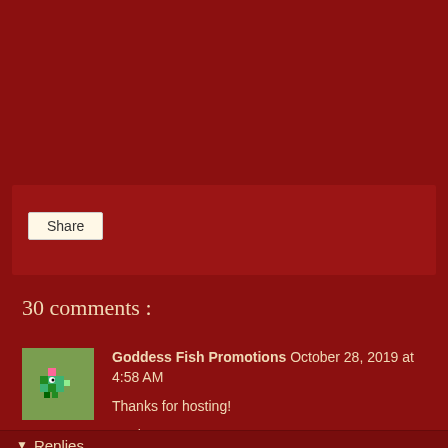[Figure (screenshot): Dark red background page area with a share button area]
Share
30 comments :
[Figure (illustration): Small pixel art avatar of a fish/plant character (Goddess Fish Promotions logo)]
Goddess Fish Promotions October 28, 2019 at 4:58 AM
Thanks for hosting!
Reply
Replies